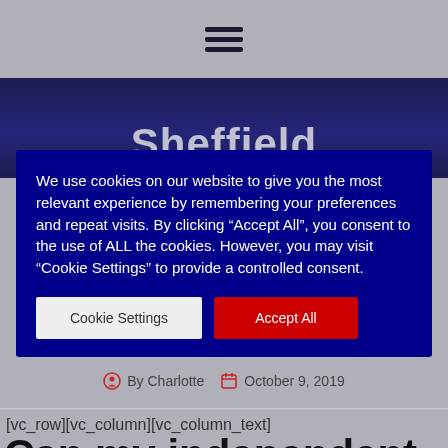[Figure (screenshot): Hamburger menu icon (three horizontal lines) on gray navigation bar]
Sheffield
We use cookies on our website to give you the most relevant experience by remembering your preferences and repeat visits. By clicking “Accept All”, you consent to the use of ALL the cookies. However, you may visit “Cookie Settings” to provide a controlled consent.
Cookie Settings   Accept All
By Charlotte   October 9, 2019
[vc_row][vc_column][vc_column_text]
Can my independent